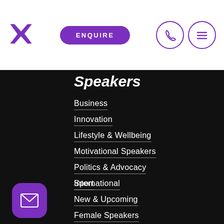[Figure (logo): Purple X logo mark in top left of navigation bar]
[Figure (other): Purple pill-shaped ENQUIRE button in navigation bar]
[Figure (other): Purple circle icons for phone and hamburger menu]
Speakers
Business
Innovation
Lifestyle & Wellbeing
Motivational Speakers
Politics & Advocacy
Sport
International
New & Upcoming
Female Speakers
Male Speakers
Indigenous Speakers